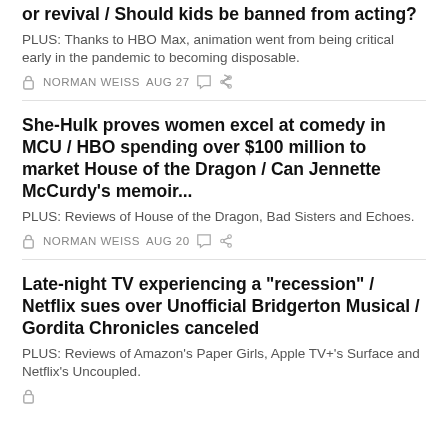or revival / Should kids be banned from acting?
PLUS: Thanks to HBO Max, animation went from being critical early in the pandemic to becoming disposable.
NORMAN WEISS  AUG 27
She-Hulk proves women excel at comedy in MCU / HBO spending over $100 million to market House of the Dragon / Can Jennette McCurdy's memoir...
PLUS: Reviews of House of the Dragon, Bad Sisters and Echoes.
NORMAN WEISS  AUG 20
Late-night TV experiencing a "recession" / Netflix sues over Unofficial Bridgerton Musical / Gordita Chronicles canceled
PLUS: Reviews of Amazon's Paper Girls, Apple TV+'s Surface and Netflix's Uncoupled.